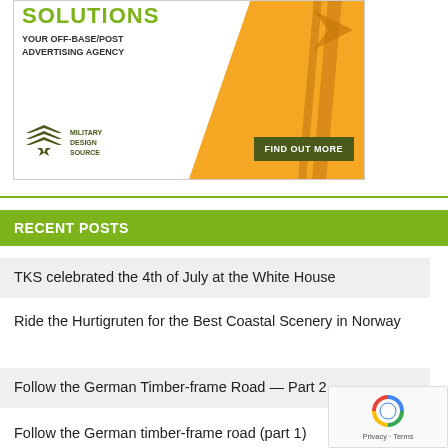[Figure (illustration): Advertisement banner for Military Design Source - 'Solutions: Your Off-Base/Post Advertising Agency' with orange diagonal design, military chevron logo, and 'Find Out More' button]
RECENT POSTS
TKS celebrated the 4th of July at the White House
Ride the Hurtigruten for the Best Coastal Scenery in Norway
Follow the German Timber-frame Road — Part 2
Follow the German timber-frame road (part 1)